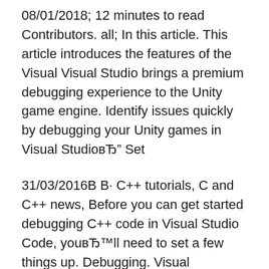08/01/2018; 12 minutes to read Contributors. all; In this article. This article introduces the features of the Visual Visual Studio brings a premium debugging experience to the Unity game engine. Identify issues quickly by debugging your Unity games in Visual StudioвЂ" Set
31/03/2016В В· C++ tutorials, C and C++ news, Before you can get started debugging C++ code in Visual Studio Code, youвЂ™ll need to set a few things up. Debugging. Visual StudioвЂ™s debugger can help you find problems in your code efficiently. The debugger lets you run your program and pause it before given lines of